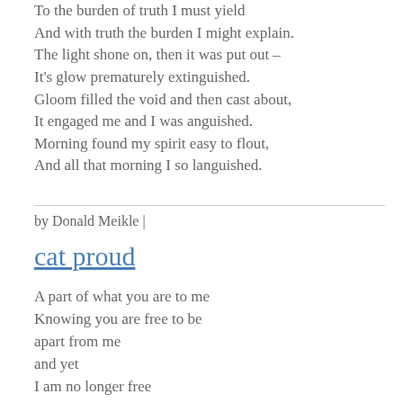To the burden of truth I must yield
And with truth the burden I might explain.

The light shone on, then it was put out –
It's glow prematurely extinguished.
Gloom filled the void and then cast about,
It engaged me and I was anguished.
Morning found my spirit easy to flout,
And all that morning I so languished.
by Donald Meikle |
cat proud
A part of what you are to me
Knowing you are free to be
apart from me
and yet
I am no longer free
to be alone from thee
so hold my heart my love my soul
for you are all that keeps me whole